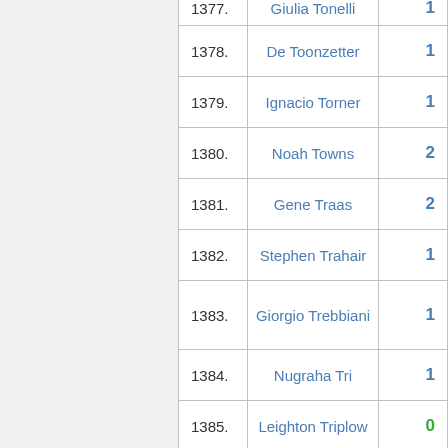| # | Name | Score |
| --- | --- | --- |
| 1377. | Giulia Tonelli | 1 |
| 1378. | De Toonzetter | 1 |
| 1379. | Ignacio Torner | 1 |
| 1380. | Noah Towns | 2 |
| 1381. | Gene Traas | 2 |
| 1382. | Stephen Trahair | 1 |
| 1383. | Giorgio Trebbiani | 1 |
| 1384. | Nugraha Tri | 1 |
| 1385. | Leighton Triplow | 0 |
| 1386. | Leighton H. Triplow | 1 |
| 1387. | Daniel Trott | 5 |
| 1388. | Hristo Tsanoff | 0 |
| 1389. | Johan Tufvesson | 17 |
| 1390. | Cathal Twomey | 3 |